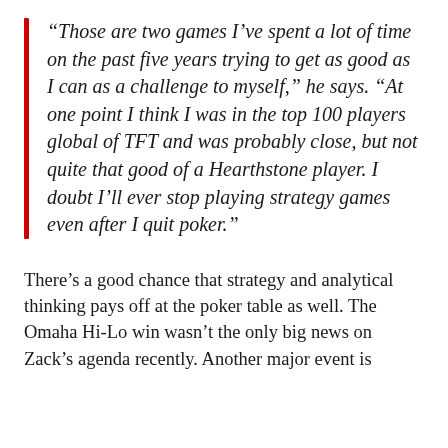“Those are two games I’ve spent a lot of time on the past five years trying to get as good as I can as a challenge to myself,” he says. “At one point I think I was in the top 100 players global of TFT and was probably close, but not quite that good of a Hearthstone player. I doubt I’ll ever stop playing strategy games even after I quit poker.”
There’s a good chance that strategy and analytical thinking pays off at the poker table as well. The Omaha Hi-Lo win wasn’t the only big news on Zack’s agenda recently. Another major event is